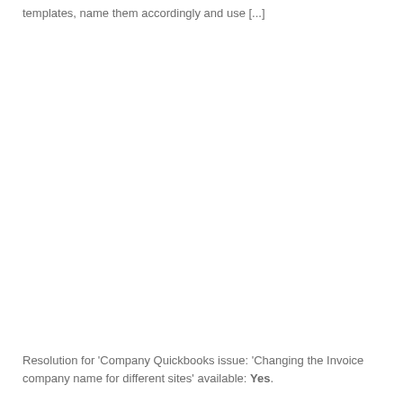templates, name them accordingly and use [...]
Resolution for 'Company Quickbooks issue: 'Changing the Invoice company name for different sites' available: Yes.